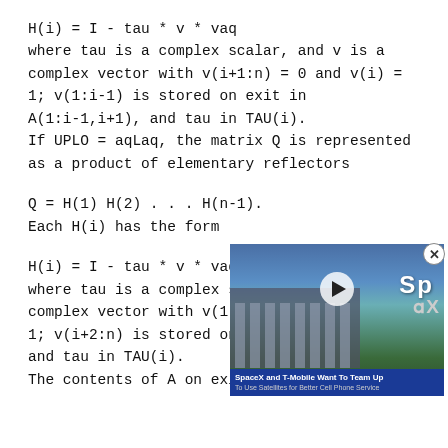H(i) = I - tau * v * vaq
where tau is a complex scalar, and v is a complex vector with v(i+1:n) = 0 and v(i) = 1; v(1:i-1) is stored on exit in A(1:i-1,i+1), and tau in TAU(i).
If UPLO = aqLaq, the matrix Q is represented as a product of elementary reflectors
Q = H(1) H(2) . . . H(n-1).
Each H(i) has the form
H(i) = I - tau * v * vaq
where tau is a complex s complex vector with v(1: 1; v(i+2:n) is stored on and tau in TAU(i).
The contents of A on exi
[Figure (other): An embedded video player overlay showing a SpaceX building with text 'SpaceX and T-Mobile Want To Team Up To Use Satellites for Better Cell Phone Service']